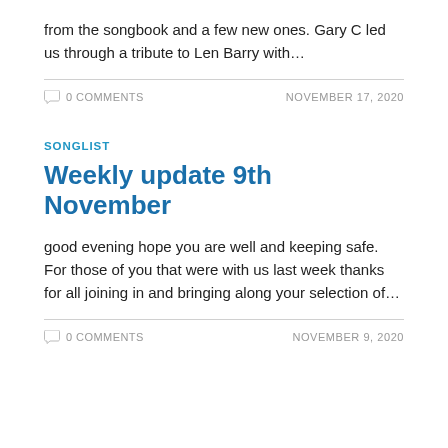from the songbook and a few new ones. Gary C led us through a tribute to Len Barry with…
0 COMMENTS   NOVEMBER 17, 2020
SONGLIST
Weekly update 9th November
good evening hope you are well and keeping safe. For those of you that were with us last week thanks for all joining in and bringing along your selection of…
0 COMMENTS   NOVEMBER 9, 2020